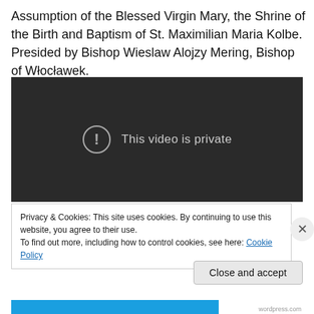Assumption of the Blessed Virgin Mary, the Shrine of the Birth and Baptism of St. Maximilian Maria Kolbe. Presided by Bishop Wieslaw Alojzy Mering, Bishop of Włocławek.
[Figure (screenshot): Video player showing 'This video is private' message with an exclamation mark icon on a dark background.]
Privacy & Cookies: This site uses cookies. By continuing to use this website, you agree to their use.
To find out more, including how to control cookies, see here: Cookie Policy